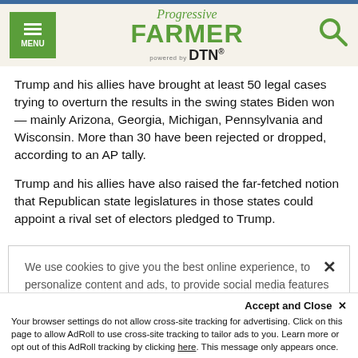Progressive FARMER powered by DTN
Trump and his allies have brought at least 50 legal cases trying to overturn the results in the swing states Biden won — mainly Arizona, Georgia, Michigan, Pennsylvania and Wisconsin. More than 30 have been rejected or dropped, according to an AP tally.
Trump and his allies have also raised the far-fetched notion that Republican state legislatures in those states could appoint a rival set of electors pledged to Trump.
We use cookies to give you the best online experience, to personalize content and ads, to provide social media features and to analyze traffic. By clicking 'Accept All Cookies' you will allow the use of these cookies. Your settings can be changed, including withdrawing your consent at any time, by clicking 'Cookie Settings'. Find out more on how we and third parties use cookies in our  Cookie Policy
Accept and Close ×
Your browser settings do not allow cross-site tracking for advertising. Click on this page to allow AdRoll to use cross-site tracking to tailor ads to you. Learn more or opt out of this AdRoll tracking by clicking here. This message only appears once.